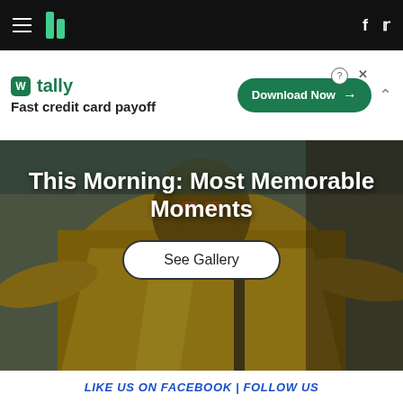HuffPost navigation bar with hamburger menu, logo, Facebook and Twitter icons
[Figure (screenshot): Tally advertisement banner: 'Fast credit card payoff' with Download Now button]
[Figure (photo): Photo of a person wearing yellow outfit and orange sunglasses, overlaid with article title and See Gallery button]
This Morning: Most Memorable Moments
See Gallery
LIKE US ON FACEBOOK | FOLLOW US